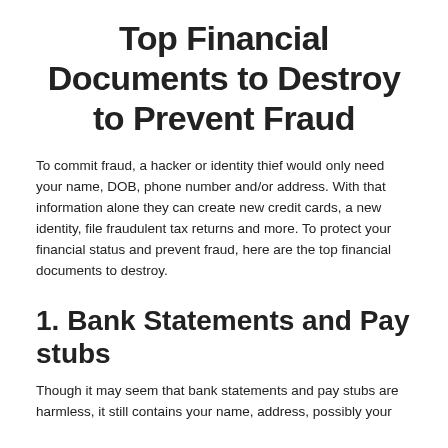Top Financial Documents to Destroy to Prevent Fraud
To commit fraud, a hacker or identity thief would only need your name, DOB, phone number and/or address. With that information alone they can create new credit cards, a new identity, file fraudulent tax returns and more. To protect your financial status and prevent fraud, here are the top financial documents to destroy.
1. Bank Statements and Pay stubs
Though it may seem that bank statements and pay stubs are harmless, it still contains your name, address, possibly your